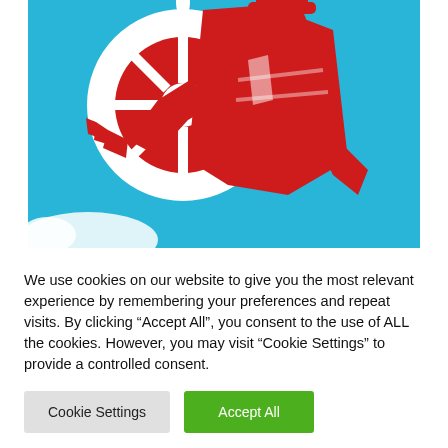[Figure (illustration): Red and white stylized illustration of a sailor/captain figure holding a ship's steering wheel, set against a bright cyan/blue background. The figure is large and graphic, rendered in flat red with white details.]
We use cookies on our website to give you the most relevant experience by remembering your preferences and repeat visits. By clicking “Accept All”, you consent to the use of ALL the cookies. However, you may visit “Cookie Settings” to provide a controlled consent.
Cookie Settings
Accept All